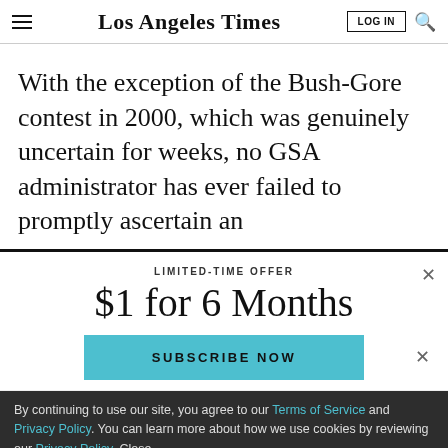Los Angeles Times
With the exception of the Bush-Gore contest in 2000, which was genuinely uncertain for weeks, no GSA administrator has ever failed to promptly ascertain an
LIMITED-TIME OFFER
$1 for 6 Months
SUBSCRIBE NOW
By continuing to use our site, you agree to our Terms of Service and Privacy Policy. You can learn more about how we use cookies by reviewing our Privacy Policy. Close